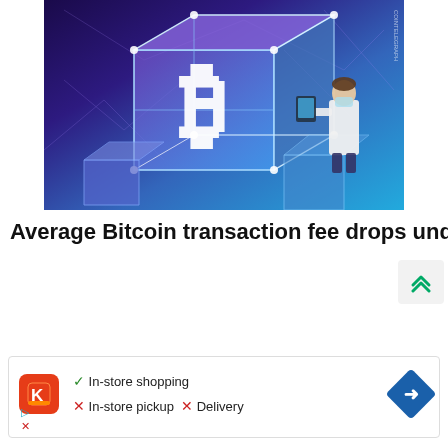[Figure (illustration): Digital illustration of glowing blue blockchain cubes with Bitcoin (₿) symbol on the front face, connected by network lines, and a scientist/researcher figure in white coat examining data on a tablet. Purple and blue gradient background with network node connections. Cointelegraph watermark visible.]
Average Bitcoin transaction fee drops under $1 as network difficulty recovers
[Figure (screenshot): Advertisement block showing a store listing. Red square icon with 'K' letter logo. Text shows: checkmark In-store shopping, X In-store pickup, X Delivery. Blue diamond navigation arrow icon on the right. Play and X icons at bottom left.]